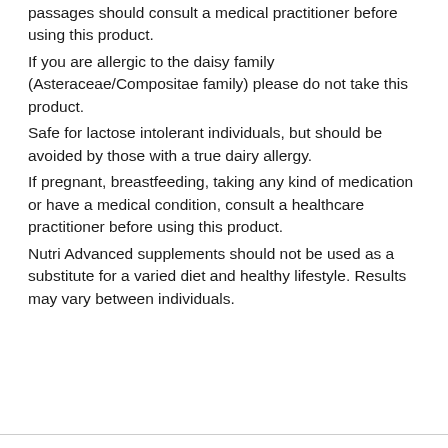passages should consult a medical practitioner before using this product. If you are allergic to the daisy family (Asteraceae/Compositae family) please do not take this product. Safe for lactose intolerant individuals, but should be avoided by those with a true dairy allergy. If pregnant, breastfeeding, taking any kind of medication or have a medical condition, consult a healthcare practitioner before using this product. Nutri Advanced supplements should not be used as a substitute for a varied diet and healthy lifestyle. Results may vary between individuals.